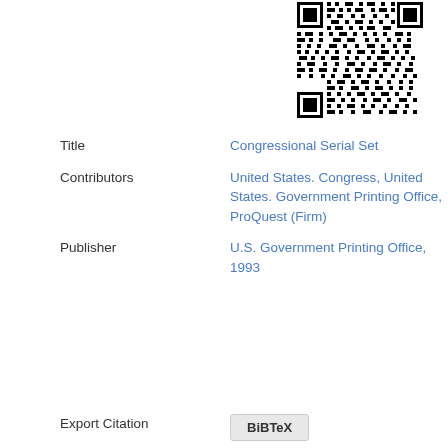[Figure (other): QR code linking to a digital resource]
Title   Congressional Serial Set
Contributors   United States. Congress, United States. Government Printing Office, ProQuest (Firm)
Publisher   U.S. Government Printing Office, 1993
Export Citation   BiBTeX